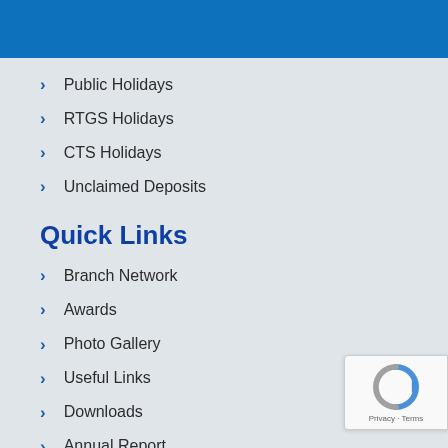Public Holidays
RTGS Holidays
CTS Holidays
Unclaimed Deposits
Quick Links
Branch Network
Awards
Photo Gallery
Useful Links
Downloads
Annual Report
FAQs
[Figure (logo): reCAPTCHA badge with Privacy and Terms text]